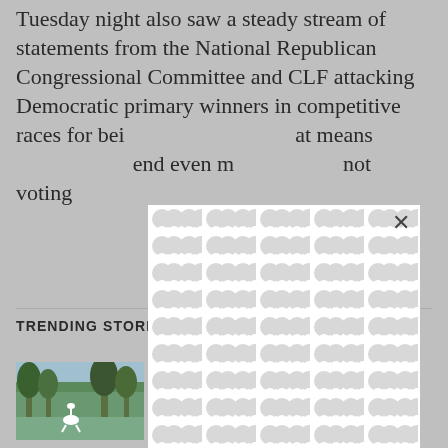Tuesday night also saw a steady stream of statements from the National Republican Congressional Committee and CLF attacking Democratic primary winners in competitive races for being too extreme — at means … end even m… not voting …
[Figure (other): Modal popup with a white background and decorative grey/white blob pattern, partially obscuring the text behind it. An X close button is visible in the upper right of the modal.]
TRENDING STORIES
[Figure (photo): Thumbnail photo showing tropical scenery with palm trees and what appears to be a white bird (egret or heron) in the foreground.]
Judge orders DOJ to prepare Trump search documents for release